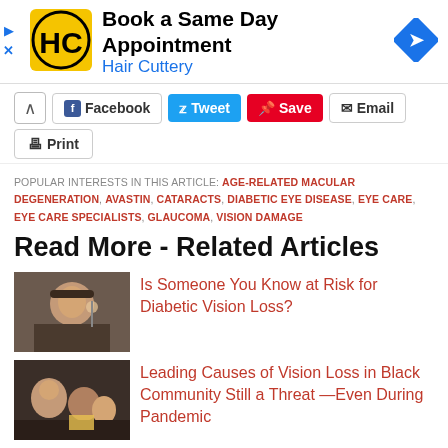[Figure (other): Hair Cuttery advertisement banner: logo (HC yellow circle), text 'Book a Same Day Appointment / Hair Cuttery', blue arrow diamond icon]
Facebook  Tweet  Save  Email  Print (social share buttons)
POPULAR INTERESTS IN THIS ARTICLE: AGE-RELATED MACULAR DEGENERATION, AVASTIN, CATARACTS, DIABETIC EYE DISEASE, EYE CARE, EYE CARE SPECIALISTS, GLAUCOMA, VISION DAMAGE
Read More - Related Articles
[Figure (photo): Photo of a person getting their eyes examined]
Is Someone You Know at Risk for Diabetic Vision Loss?
[Figure (photo): Photo of people in a community setting]
Leading Causes of Vision Loss in Black Community Still a Threat —Even During Pandemic